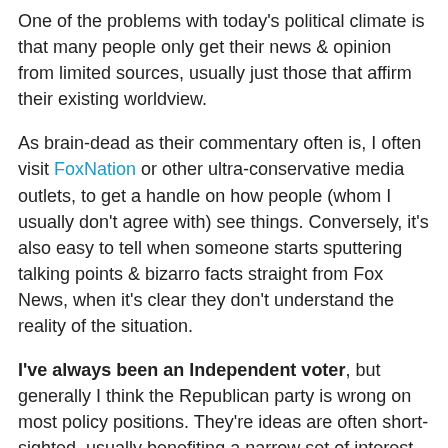One of the problems with today's political climate is that many people only get their news & opinion from limited sources, usually just those that affirm their existing worldview.
As brain-dead as their commentary often is, I often visit FoxNation or other ultra-conservative media outlets, to get a handle on how people (whom I usually don't agree with) see things. Conversely, it's also easy to tell when someone starts sputtering talking points & bizarro facts straight from Fox News, when it's clear they don't understand the reality of the situation.
I've always been an Independent voter, but generally I think the Republican party is wrong on most policy positions. They're ideas are often short-sighted, usually benefiting a narrow set of interest groups. Through endless obstruction & political stunts like this shutdown, they've also shown they simply can't run the federal government effectively. Despite the myth of their superiority on fiscal matters, the modern GOP have a pretty poor record of racking up public debt & governing in a way that does not advance positive solutions for the country.